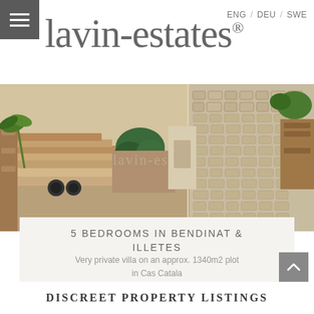lavin-estates®   ENG / DEU / SWE
[Figure (photo): Outdoor stone steps and cobblestone driveway of a Mediterranean villa with lush greenery]
5 BEDROOMS IN BENDINAT & ILLETES
Very private villa on an approx. 1340m2 plot in Cas Catala
DISCREET PROPERTY LISTINGS